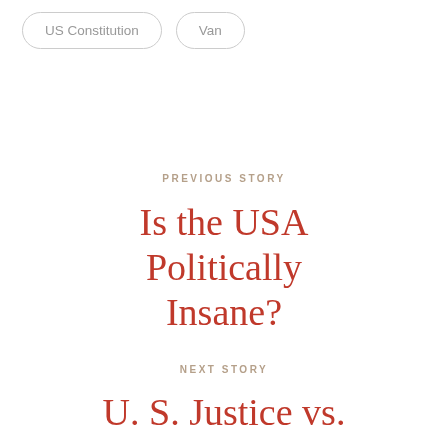US Constitution
Van
PREVIOUS STORY
Is the USA Politically Insane?
NEXT STORY
U. S. Justice vs.